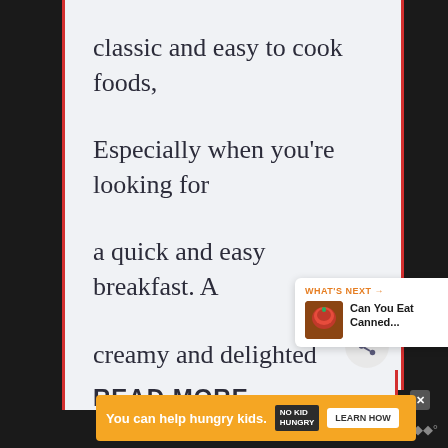classic and easy to cook foods,
Especially when you're looking for
a quick and easy breakfast. A
creamy and delighted breakfast…
READ MORE →
[Figure (screenshot): What's Next panel showing 'Can You Eat Canned...' article thumbnail]
[Figure (screenshot): No Kid Hungry advertisement banner: 'You can help hungry kids. LEARN HOW']